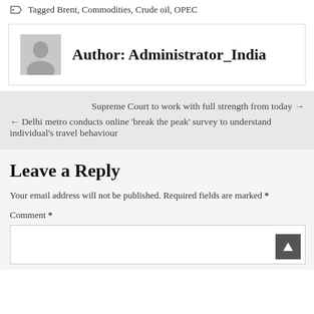Tagged Brent, Commodities, Crude oil, OPEC
Author: Administrator_India
Supreme Court to work with full strength from today →
← Delhi metro conducts online 'break the peak' survey to understand individual's travel behaviour
Leave a Reply
Your email address will not be published. Required fields are marked *
Comment *